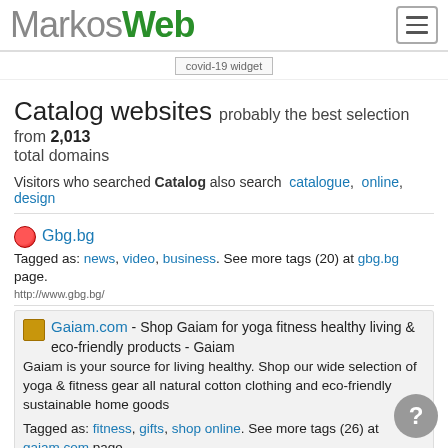MarkosWeb
[Figure (other): covid-19 widget placeholder image]
Catalog websites probably the best selection from 2,013 total domains
Visitors who searched Catalog also search catalogue, online, design
Gbg.bg — Tagged as: news, video, business. See more tags (20) at gbg.bg page. http://www.gbg.bg/
Gaiam.com - Shop Gaiam for yoga fitness healthy living & eco-friendly products - Gaiam. Gaiam is your source for living healthy. Shop our wide selection of yoga & fitness gear all natural cotton clothing and eco-friendly sustainable home goods. Tagged as: fitness, gifts, shop online. See more tags (26) at gaiam.com page. http://www.gaiam.com/
Tiscali.cz - Zprvy Finance Sport Poas Tiscali.cz. Jeden z peiznmich a neidle funquicch eskch informanch portl kter se